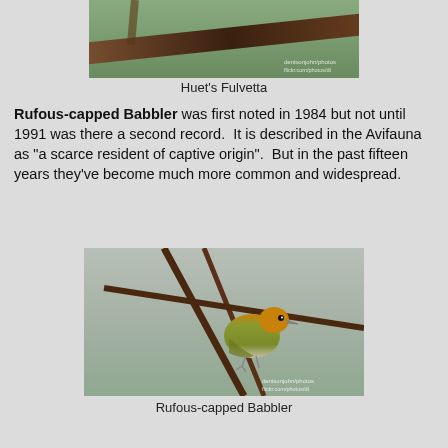[Figure (photo): Photograph of Huet's Fulvetta bird perched on a branch, with green/dark background]
Huet's Fulvetta
Rufous-capped Babbler was first noted in 1984 but not until 1991 was there a second record.  It is described in the Avifauna as "a scarce resident of captive origin".  But in the past fifteen years they've become much more common and widespread.
[Figure (photo): Photograph of a Rufous-capped Babbler bird with orange-red cap and olive-green body, perched on dark thin branches against a grey background]
Rufous-capped Babbler